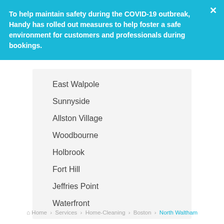To help maintain safety during the COVID-19 outbreak, Handy has rolled out measures to help foster a safe environment for customers and professionals during bookings.
East Walpole
Sunnyside
Allston Village
Woodbourne
Holbrook
Fort Hill
Jeffries Point
Waterfront
Home > Services > Home-Cleaning > Boston > North Waltham